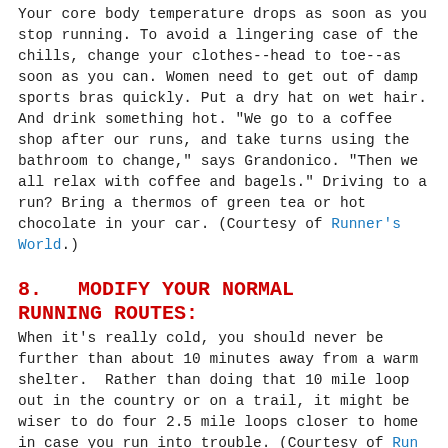Your core body temperature drops as soon as you stop running. To avoid a lingering case of the chills, change your clothes--head to toe--as soon as you can. Women need to get out of damp sports bras quickly. Put a dry hat on wet hair. And drink something hot. "We go to a coffee shop after our runs, and take turns using the bathroom to change," says Grandonico. "Then we all relax with coffee and bagels." Driving to a run? Bring a thermos of green tea or hot chocolate in your car. (Courtesy of Runner's World.)
8.   MODIFY YOUR NORMAL RUNNING ROUTES:
When it's really cold, you should never be further than about 10 minutes away from a warm shelter.  Rather than doing that 10 mile loop out in the country or on a trail, it might be wiser to do four 2.5 mile loops closer to home in case you run into trouble. (Courtesy of Run Quick.)
9.   DO NOT IGNORE SHIVERING:
Shivering is an important first sign that the body is losing